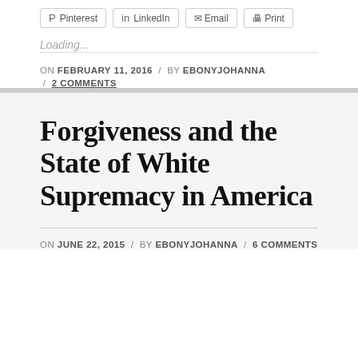[Figure (other): Social share buttons: Pinterest, LinkedIn, Email, Print]
Loading...
ON FEBRUARY 11, 2016 / BY EBONYJOHANNA / 2 COMMENTS
Forgiveness and the State of White Supremacy in America
ON JUNE 22, 2015 / BY EBONYJOHANNA / 6 COMMENTS